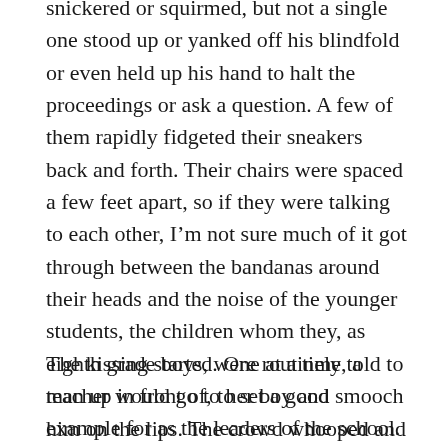snickered or squirmed, but not a single one stood up or yanked off his blindfold or even held up his hand to halt the proceedings or ask a question. A few of them rapidly fidgeted their sneakers back and forth. Their chairs were spaced a few feet apart, so if they were talking to each other, I'm not sure much of it got through between the bandanas around their heads and the noise of the younger students, the children whom they, as eighth grade boys, were routinely told to man up in front of, to set a good example for as the leaders of the school.
The kissing started. One at a time, a teacher would go to her boy and smooch him on the lips. The crowd whooped and hollered. Then the boy would grin